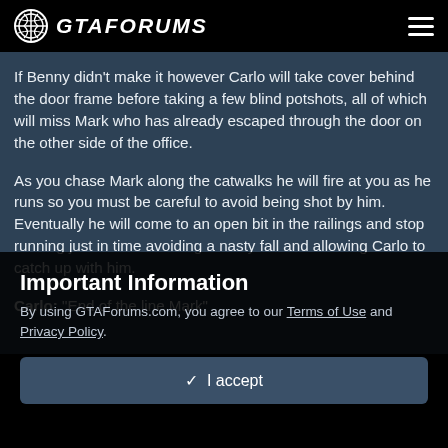GTAFORUMS
If Benny didn't make it however Carlo will take cover behind the door frame before taking a few blind potshots, all of which will miss Mark who has already escaped through the door on the other side of the office.
As you chase Mark along the catwalks he will fire at you as he runs so you must be careful to avoid being shot by him. Eventually he will come to an open bit in the railings and stop running just in time avoiding a nasty fall and allowing Carlo to catch up with him.
Carlo: "End of the line Mark"
Important Information
By using GTAForums.com, you agree to our Terms of Use and Privacy Policy.
✓  I accept